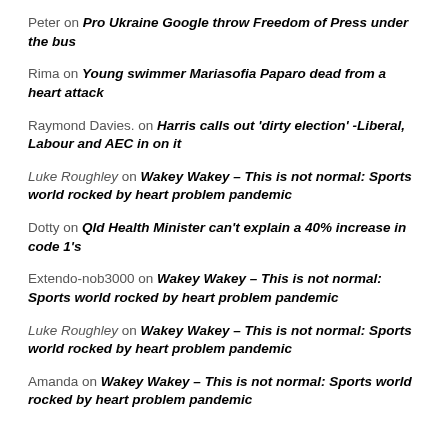Peter on Pro Ukraine Google throw Freedom of Press under the bus
Rima on Young swimmer Mariasofia Paparo dead from a heart attack
Raymond Davies. on Harris calls out 'dirty election' -Liberal, Labour and AEC in on it
Luke Roughley on Wakey Wakey – This is not normal: Sports world rocked by heart problem pandemic
Dotty on Qld Health Minister can't explain a 40% increase in code 1's
Extendo-nob3000 on Wakey Wakey – This is not normal: Sports world rocked by heart problem pandemic
Luke Roughley on Wakey Wakey – This is not normal: Sports world rocked by heart problem pandemic
Amanda on Wakey Wakey – This is not normal: Sports world rocked by heart problem pandemic